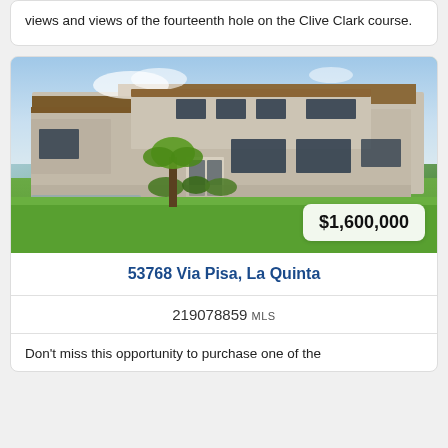views and views of the fourteenth hole on the Clive Clark course.
[Figure (photo): Exterior rendering of a modern luxury home with flat/pitched rooflines, large glass windows, pool area, palm trees, and green lawn. Price badge shows $1,600,000 in lower right corner.]
53768 Via Pisa, La Quinta
219078859 MLS
Don't miss this opportunity to purchase one of the